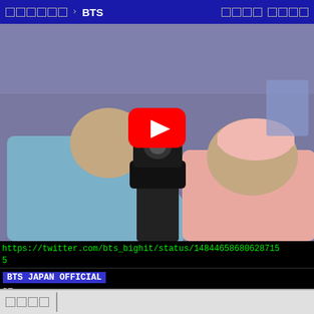□□□□□□ › BTS　　　□□□□ □□□□
[Figure (screenshot): Video thumbnail showing two people using a camera on a tripod in a studio-like setting with a YouTube play button overlay in the center]
https://twitter.com/bts_bighit/status/148446586806287155
BTS JAPAN OFFICIAL
RT □□□□□□□□□□
□ TinyTAN Dynamite Ver. □□□□□□□□□□□□□□□□□□□□
□ TinyTAN
Dynamite Ver. □□□□□□□□□□□□□□□□□□□□
□□□□